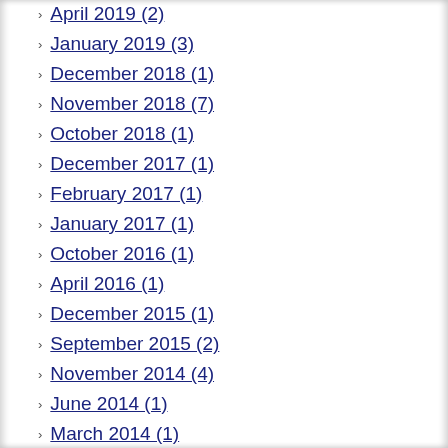April 2019 (2)
January 2019 (3)
December 2018 (1)
November 2018 (7)
October 2018 (1)
December 2017 (1)
February 2017 (1)
January 2017 (1)
October 2016 (1)
April 2016 (1)
December 2015 (1)
September 2015 (2)
November 2014 (4)
June 2014 (1)
March 2014 (1)
January 2014 (2)